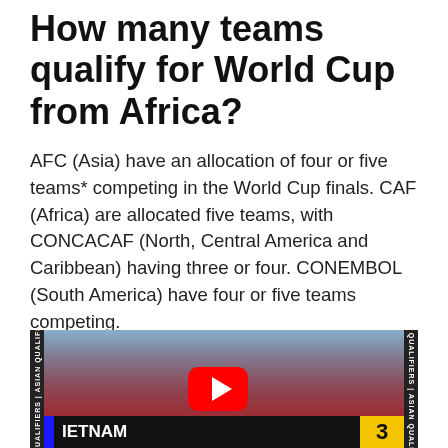How many teams qualify for World Cup from Africa?
AFC (Asia) have an allocation of four or five teams* competing in the World Cup finals. CAF (Africa) are allocated five teams, with CONCACAF (North, Central America and Caribbean) having three or four. CONEMBOL (South America) have four or five teams competing.
[Figure (photo): Video thumbnail showing Vietnamese football players in red jerseys celebrating, with a YouTube play button overlay and a score bar showing VIETNAM 3 at the bottom. Vertical text on both sides reads 'AN QUALIFIERS | ASIAN QUALIFIERS'.]